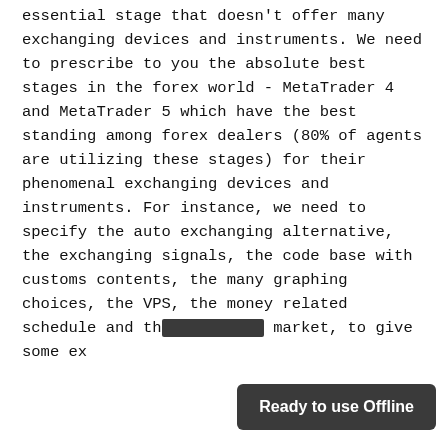essential stage that doesn't offer many exchanging devices and instruments. We need to prescribe to you the absolute best stages in the forex world - MetaTrader 4 and MetaTrader 5 which have the best standing among forex dealers (80% of agents are utilizing these stages) for their phenomenal exchanging devices and instruments. For instance, we need to specify the auto exchanging alternative, the exchanging signals, the code base with customs contents, the many graphing choices, the VPS, the money related schedule and th... market, to give some ex...
Ready to use Offline